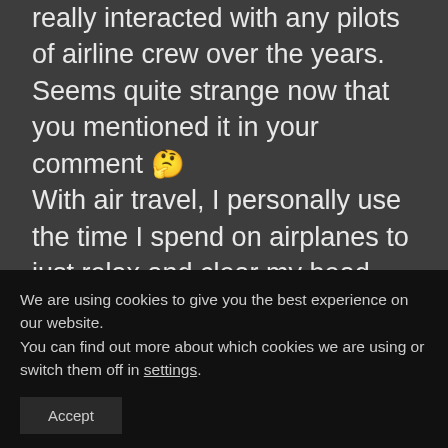really interacted with any pilots of airline crew over the years. Seems quite strange now that you mentioned it in your comment 🤔 With air travel, I personally use the time I spend on airplanes to just relax and clear my head. Rarely do I speak to others on flights, perhaps because I spend so much time meeting new people while in the destinations I visit and this is the time I just back and keep to myself.
We are using cookies to give you the best experience on our website.
You can find out more about which cookies we are using or switch them off in settings.
Accept